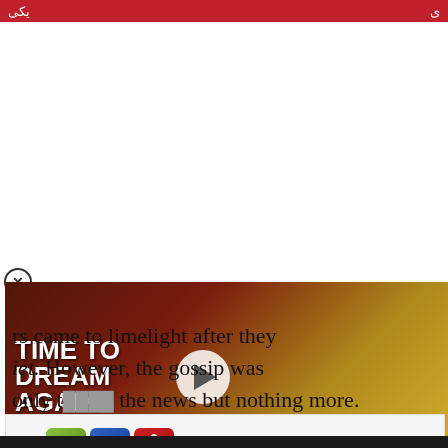[Figure (screenshot): Video ad overlay showing a woman in a yellow dress with text TIME TO DREAM AGAIN and Arabic subtitle, with a play button.]
rs came to limelight after they
iet. However, the gossip was
only t...the news but nothing more.
[Figure (screenshot): BitLife - Life Simulator app advertisement with Install button.]